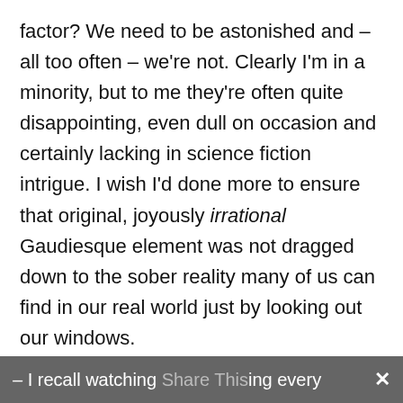factor? We need to be astonished and – all too often – we're not. Clearly I'm in a minority, but to me they're often quite disappointing, even dull on occasion and certainly lacking in science fiction intrigue. I wish I'd done more to ensure that original, joyously irrational Gaudiesque element was not dragged down to the sober reality many of us can find in our real world just by looking out our windows.

The cops, too, needed a science fiction definition during those first critical episodes before John Wagner returned to his creation – I recall watching Share This every